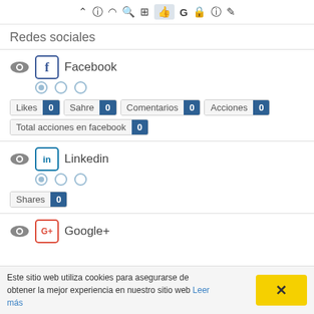Toolbar with icons: up-arrow, info, refresh, search, chart, thumbs-up (active), G, lock, help, edit
Redes sociales
Facebook — Likes: 0, Sahre: 0, Comentarios: 0, Acciones: 0, Total acciones en facebook: 0
Linkedin — Shares: 0
Google+
Este sitio web utiliza cookies para asegurarse de obtener la mejor experiencia en nuestro sitio web Leer más